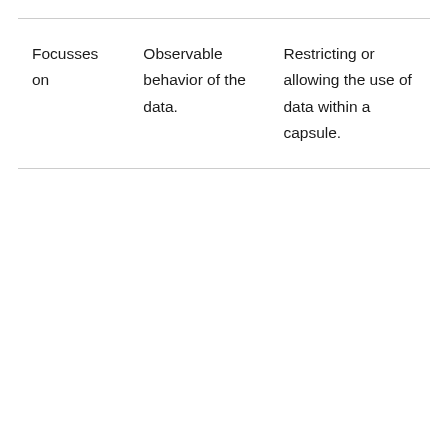| Focusses on | Observable behavior of the data. | Restricting or allowing the use of data within a capsule. |